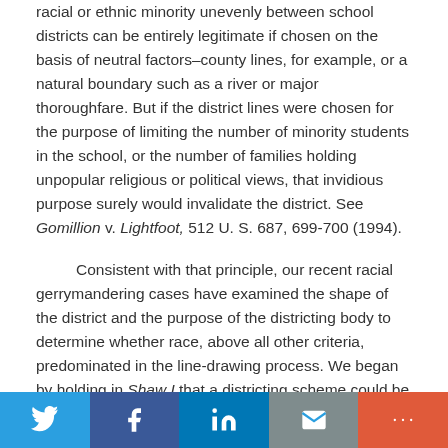racial or ethnic minority unevenly between school districts can be entirely legitimate if chosen on the basis of neutral factors–county lines, for example, or a natural boundary such as a river or major thoroughfare. But if the district lines were chosen for the purpose of limiting the number of minority students in the school, or the number of families holding unpopular religious or political views, that invidious purpose surely would invalidate the district. See Gomillion v. Lightfoot, 512 U. S. 687, 699-700 (1994).
Consistent with that principle, our recent racial gerrymandering cases have examined the shape of the district and the purpose of the districting body to determine whether race, above all other criteria, predominated in the line-drawing process. We began by holding in Shaw I that a districting scheme could be "so irrational on its face that it [could] be understood only as an effort to segregate voters
Share buttons: Twitter, Facebook, LinkedIn, Email, More